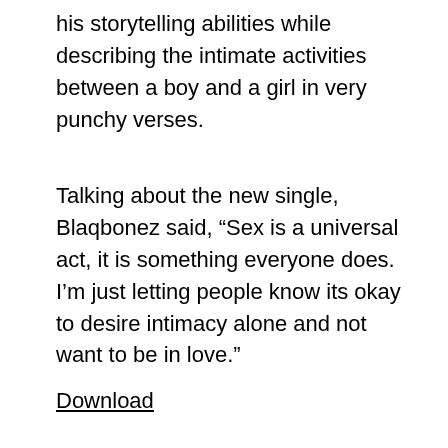his storytelling abilities while describing the intimate activities between a boy and a girl in very punchy verses.
Talking about the new single, Blaqbonez said, “Sex is a universal act, it is something everyone does. I’m just letting people know its okay to desire intimacy alone and not want to be in love.”
Download